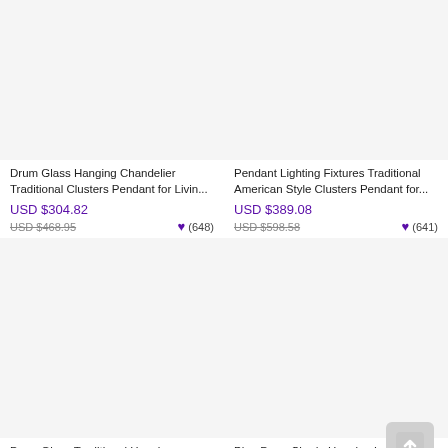[Figure (photo): Product image of Drum Glass Hanging Chandelier (top-left)]
Drum Glass Hanging Chandelier Traditional Clusters Pendant for Livin...
USD $304.82
USD $468.95
(648)
[Figure (photo): Product image of Pendant Lighting Fixtures Traditional American Style (top-right)]
Pendant Lighting Fixtures Traditional American Style Clusters Pendant for...
USD $389.08
USD $598.58
(641)
[Figure (photo): Product image of Drum Glass Traditional Hanging Pendant Lights (bottom-left)]
Drum Glass Traditional Hanging Pendant Lights American Style...
[Figure (photo): Product image of Blue Drum Shade Hanging Lamp 4/6 Lights Nordic Style (bottom-right)]
Blue Drum Shade Hanging Lamp 4/6 Lights Nordic Style Little Stone...